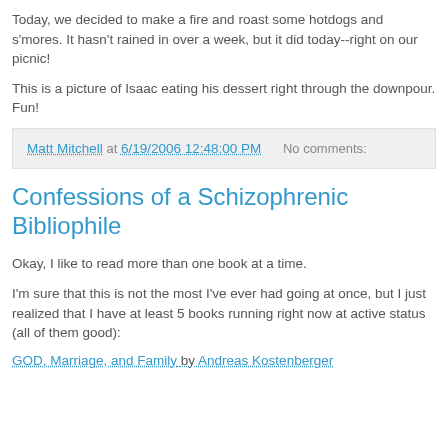Today, we decided to make a fire and roast some hotdogs and s'mores. It hasn't rained in over a week, but it did today--right on our picnic!
This is a picture of Isaac eating his dessert right through the downpour. Fun!
Matt Mitchell at 6/19/2006 12:48:00 PM    No comments:
Confessions of a Schizophrenic Bibliophile
Okay, I like to read more than one book at a time.
I'm sure that this is not the most I've ever had going at once, but I just realized that I have at least 5 books running right now at active status (all of them good):
GOD, Marriage, and Family by Andreas Kostenberger